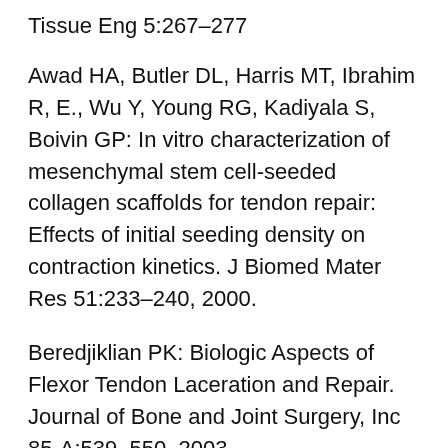Tissue Eng 5:267–277
Awad HA, Butler DL, Harris MT, Ibrahim R, E., Wu Y, Young RG, Kadiyala S, Boivin GP: In vitro characterization of mesenchymal stem cell-seeded collagen scaffolds for tendon repair: Effects of initial seeding density on contraction kinetics. J Biomed Mater Res 51:233–240, 2000.
Beredjiklian PK: Biologic Aspects of Flexor Tendon Laceration and Repair. Journal of Bone and Joint Surgery, Inc 85-A:539–550, 2003.
Dabareiner RM, Carter GK, Chaffin MK. How to perform ultrasound-guided tendon splitting and intralesional tendon injections in the standing